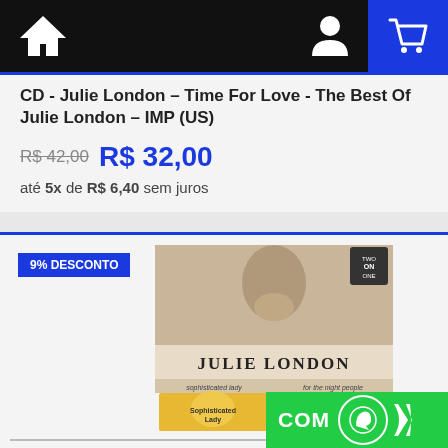[Figure (screenshot): Navigation bar with home icon, user icon, and shopping cart icon on black/blue background]
CD - Julie London – Time For Love - The Best Of Julie London – IMP (US)
R$ 42,00  R$ 32,00
até 5x de R$ 6,40 sem juros
9% DESCONTO
[Figure (photo): Album cover for Julie London – Sophisticated Lady / For The Night People, showing a two-in-one CD compilation with portrait of Julie London and two sub-album covers]
CD - Julie London – Sophisticated Lady / For The